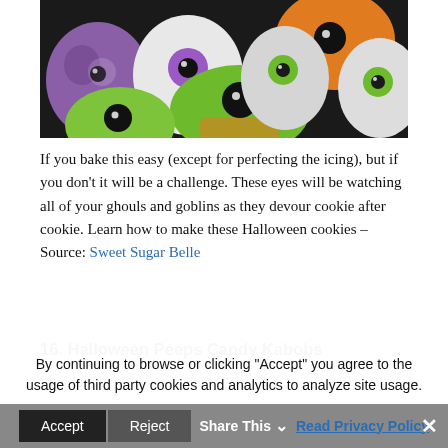[Figure (photo): Close-up photo of colorful Halloween eye-shaped cookies/candies in purple, orange, green, and white with black pupils on a dark background.]
If you bake this easy (except for perfecting the icing), but if you don't it will be a challenge. These eyes will be watching all of your ghouls and goblins as they devour cookie after cookie. Learn how to make these Halloween cookies – Source: Sweet Sugar Belle
16. Halloween Peeps Candy Kabobs
By continuing to browse or clicking "Accept" you agree to the usage of third party cookies and analytics to analyze site usage.